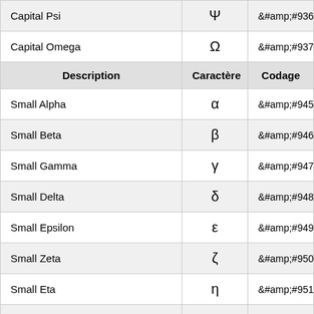| Description | Caractère | Codage |
| --- | --- | --- |
| Capital Psi | Ψ | &#936; |
| Capital Omega | Ω | &#937; |
| Small Alpha | α | &#945; |
| Small Beta | β | &#946; |
| Small Gamma | γ | &#947; |
| Small Delta | δ | &#948; |
| Small Epsilon | ε | &#949; |
| Small Zeta | ζ | &#950; |
| Small Eta | η | &#951; |
| Small Theta | θ | &#952; |
| Small Iota | ι | &#953; |